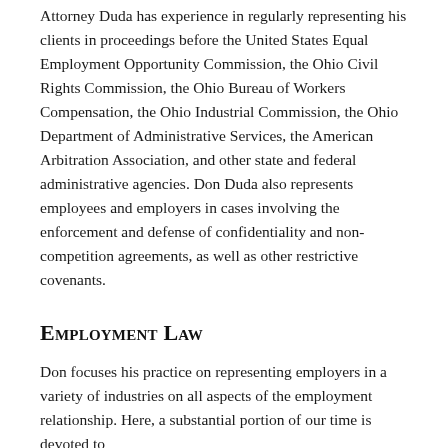Attorney Duda has experience in regularly representing his clients in proceedings before the United States Equal Employment Opportunity Commission, the Ohio Civil Rights Commission, the Ohio Bureau of Workers Compensation, the Ohio Industrial Commission, the Ohio Department of Administrative Services, the American Arbitration Association, and other state and federal administrative agencies. Don Duda also represents employees and employers in cases involving the enforcement and defense of confidentiality and non-competition agreements, as well as other restrictive covenants.
Employment Law
Don focuses his practice on representing employers in a variety of industries on all aspects of the employment relationship. Here, a substantial portion of our time is devoted to